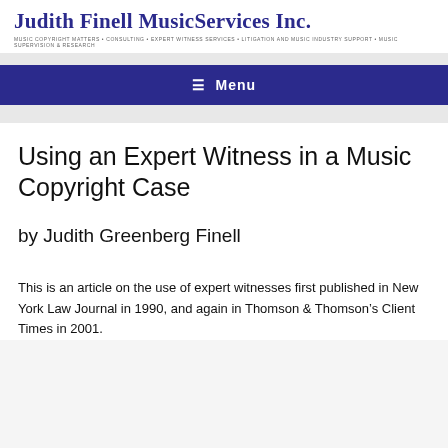Judith Finell MusicServices Inc. — MUSIC COPYRIGHT MATTERS • CONSULTING • EXPERT WITNESS SERVICES • LITIGATION AND MUSIC INDUSTRY SUPPORT • MUSIC SUPERVISION & RESEARCH
≡ Menu
Using an Expert Witness in a Music Copyright Case
by Judith Greenberg Finell
This is an article on the use of expert witnesses first published in New York Law Journal in 1990, and again in Thomson & Thomson's Client Times in 2001.